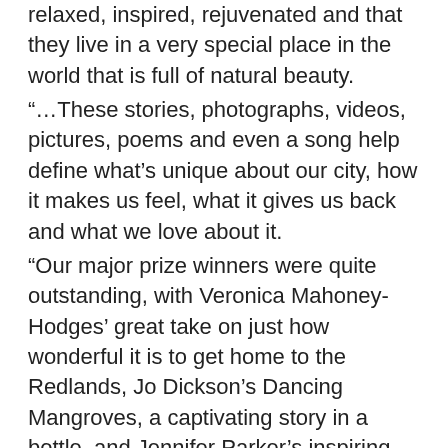relaxed, inspired, rejuvenated and that they live in a very special place in the world that is full of natural beauty.
“…These stories, photographs, videos, pictures, poems and even a song help define what’s unique about our city, how it makes us feel, what it gives us back and what we love about it.
“Our major prize winners were quite outstanding, with Veronica Mahoney-Hodges’ great take on just how wonderful it is to get home to the Redlands, Jo Dickson’s Dancing Mangroves, a captivating story in a bottle, and Jennifer Parker’s inspiring imagery in My Redlands.”
Cr Williams said council also had received valuable community input through focus groups with residents and visitors, online surveys, workshops, surveys and